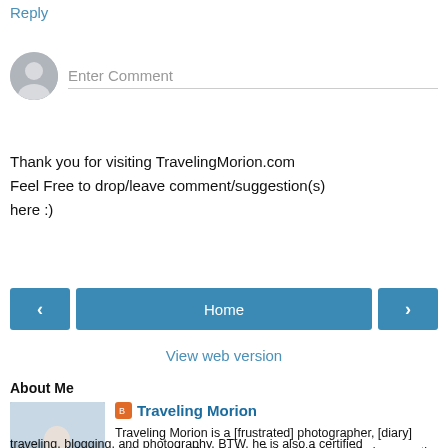Reply
[Figure (illustration): User avatar placeholder (gray silhouette) next to Enter Comment input field with bottom border]
Thank you for visiting TravelingMorion.com
Feel Free to drop/leave comment/suggestion(s) here :)
[Figure (infographic): Navigation buttons: left arrow (<), Home button in center, right arrow (>)]
View web version
About Me
[Figure (photo): Photo of a man with glasses holding a large camera with telephoto lens, indoor setting]
Traveling Morion
Traveling Morion is a [frustrated] photographer, [diary] writer, and [self-proclaimed] travel blogger. He is currently working as a Social Development Practitioner and spends his non-working days in traveling, blogging, and photography. BTW, he is also a certified